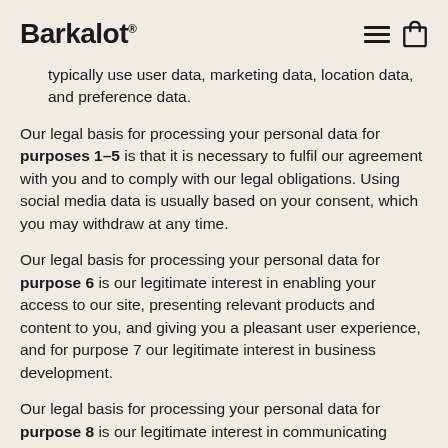Barkalot
typically use user data, marketing data, location data, and preference data.
Our legal basis for processing your personal data for purposes 1–5 is that it is necessary to fulfil our agreement with you and to comply with our legal obligations. Using social media data is usually based on your consent, which you may withdraw at any time.
Our legal basis for processing your personal data for purpose 6 is our legitimate interest in enabling your access to our site, presenting relevant products and content to you, and giving you a pleasant user experience, and for purpose 7 our legitimate interest in business development.
Our legal basis for processing your personal data for purpose 8 is our legitimate interest in communicating offers to you, or your consent, as further explained below (Marketing).